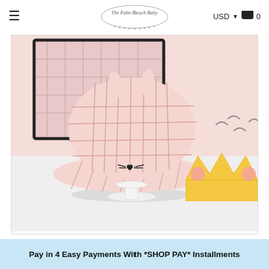≡  The Palm Beach Baby  USD ▾ 🛒 0
[Figure (photo): Pink and white plaid bucket hat with bunny ears and cat face embroidery displayed on a white stand, with a pink plaid background and cartoon character decoration in the corner]
Pay in 4 Easy Payments With *SHOP PAY* Installments